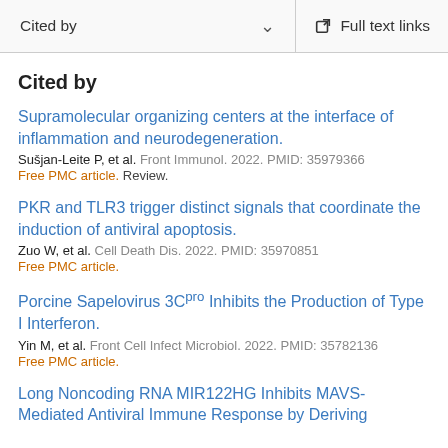Cited by   ∨   Full text links
Cited by
Supramolecular organizing centers at the interface of inflammation and neurodegeneration.
Sušjan-Leite P, et al. Front Immunol. 2022. PMID: 35979366
Free PMC article. Review.
PKR and TLR3 trigger distinct signals that coordinate the induction of antiviral apoptosis.
Zuo W, et al. Cell Death Dis. 2022. PMID: 35970851
Free PMC article.
Porcine Sapelovirus 3Cpro Inhibits the Production of Type I Interferon.
Yin M, et al. Front Cell Infect Microbiol. 2022. PMID: 35782136
Free PMC article.
Long Noncoding RNA MIR122HG Inhibits MAVS-Mediated Antiviral Immune Response by Deriving